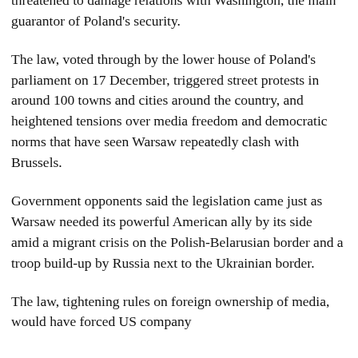critical of the nationalist government in Warsaw and threatened to damage relations with Washington, the main guarantor of Poland's security.
The law, voted through by the lower house of Poland's parliament on 17 December, triggered street protests in around 100 towns and cities around the country, and heightened tensions over media freedom and democratic norms that have seen Warsaw repeatedly clash with Brussels.
Government opponents said the legislation came just as Warsaw needed its powerful American ally by its side amid a migrant crisis on the Polish-Belarusian border and a troop build-up by Russia next to the Ukrainian border.
The law, tightening rules on foreign ownership of media, would have forced US company